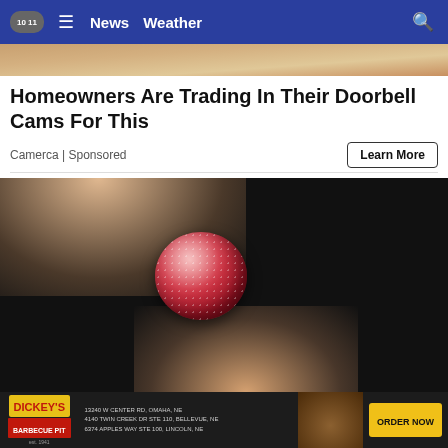10 11 | News  Weather
[Figure (photo): Partial top image showing a hand/food item with beige/sandy background]
Homeowners Are Trading In Their Doorbell Cams For This
Camerca | Sponsored
Learn More
[Figure (photo): A hand holding a red sugary gummy candy ball against a dark background]
[Figure (infographic): Dickey's Barbecue Pit advertisement banner with address details and ORDER NOW button]